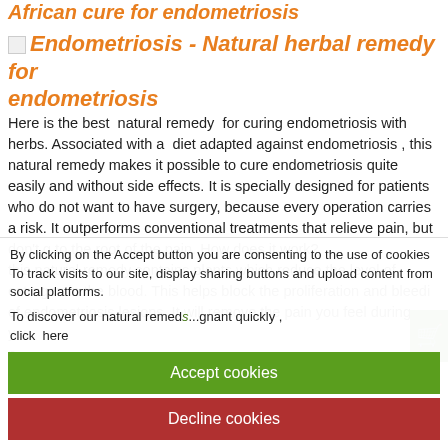African cure for endometriosis
[Figure (illustration): Placeholder image icon for Endometriosis - Natural herbal remedy for endometriosis]
Endometriosis - Natural herbal remedy for endometriosis
Here is the best natural remedy for curing endometriosis with herbs. Associated with a diet adapted against endometriosis , this natural remedy makes it possible to cure endometriosis quite easily and without side effects. It is specially designed for patients who do not want to have surgery, because every operation carries a risk. It outperforms conventional treatments that relieve pain, but don't g to the root of the pain. How does it work? this natural remedy contains plants which reduce the level of estrogen in the blood. This helps block the proliferation and bleedi of endometriosis lesions. It will remove the pain you feel during you p
By clicking on the Accept button you are consenting to the use of cookies To track visits to our site, display sharing buttons and upload content from social platforms.
To discover our natural remed...gnant quickly,
click here
Accept cookies
Decline cookies